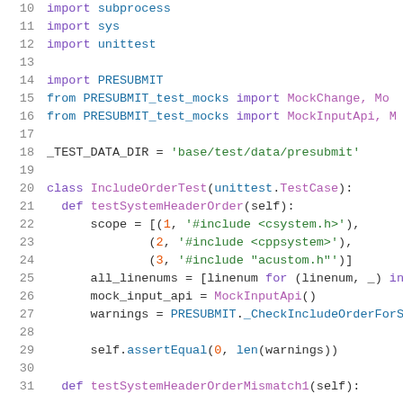[Figure (screenshot): Python source code snippet showing import statements and beginning of a unittest class definition for IncludeOrderTest, with syntax highlighting. Lines 10-31 visible.]